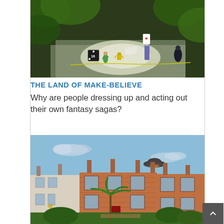[Figure (photo): Fantasy miniature scene with small figurines including a hula dancer, a yellow robot, a wizard holding a playing card, and other characters arranged on a table with green leaves in the background]
THE LAND OF MAKE-BELIEVE
Why are people dressing up and acting out their own fantasy sagas?
[Figure (photo): A row of terraced brick houses with chimneys and a UFO/flying saucer visible in the sky above, along with a palm tree in the foreground]